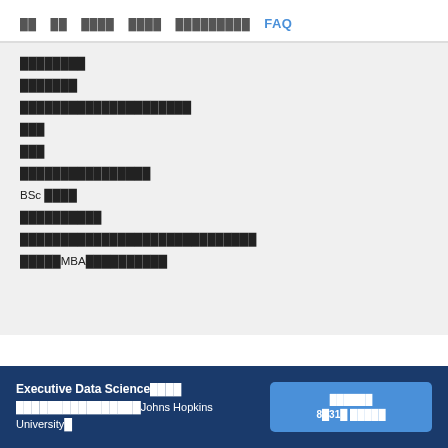██ ██ ████ ████ █████████ FAQ
████████
███████
█████████████████████
███
███
████████████████
BSc ████
██████████
█████████████████████████████
█████MBA██████████
Executive Data Science████ ████████████████Johns Hopkins University█
██████ 8█31█ █████